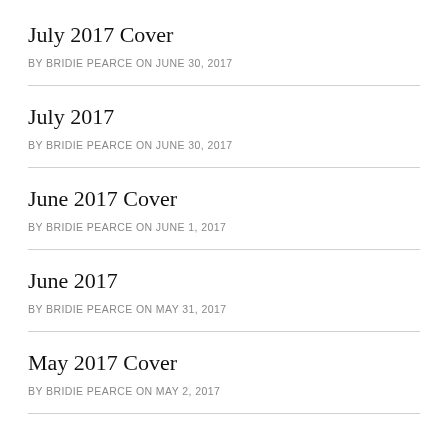July 2017 Cover
BY BRIDIE PEARCE ON JUNE 30, 2017
July 2017
BY BRIDIE PEARCE ON JUNE 30, 2017
June 2017 Cover
BY BRIDIE PEARCE ON JUNE 1, 2017
June 2017
BY BRIDIE PEARCE ON MAY 31, 2017
May 2017 Cover
BY BRIDIE PEARCE ON MAY 2, 2017